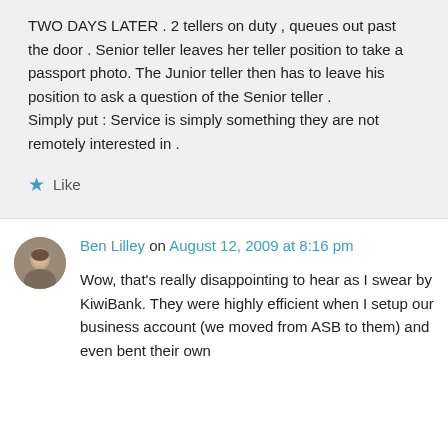TWO DAYS LATER . 2 tellers on duty , queues out past the door . Senior teller leaves her teller position to take a passport photo. The Junior teller then has to leave his position to ask a question of the Senior teller . Simply put : Service is simply something they are not remotely interested in .
★ Like
Ben Lilley on August 12, 2009 at 8:16 pm
Wow, that's really disappointing to hear as I swear by KiwiBank. They were highly efficient when I setup our business account (we moved from ASB to them) and even bent their own